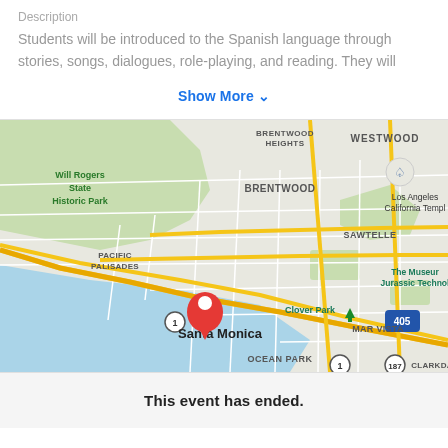Description
Students will be introduced to the Spanish language through stories, songs, dialogues, role-playing, and reading. They will
Show More ▾
[Figure (map): Google Map showing Santa Monica, CA area with a red location pin. Visible neighborhoods include Brentwood, Pacific Palisades, Westwood, Sawtelle, Mar Vista, Ocean Park. Also shows Will Rogers State Historic Park, Clover Park, The Museum of Jurassic Technology, Los Angeles California Temple, and Interstate 405.]
This event has ended.